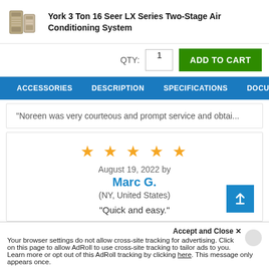York 3 Ton 16 Seer LX Series Two-Stage Air Conditioning System
QTY: 1  ADD TO CART
ACCESSORIES  DESCRIPTION  SPECIFICATIONS  DOCUMENTS  P
"Noreen was very courteous and prompt service and obtai...
[Figure (other): 5 orange stars rating]
August 19, 2022 by
Marc G.
(NY, United States)
"Quick and easy."
Accept and Close ✕
Your browser settings do not allow cross-site tracking for advertising. Click on this page to allow AdRoll to use cross-site tracking to tailor ads to you. Learn more or opt out of this AdRoll tracking by clicking here. This message only appears once.